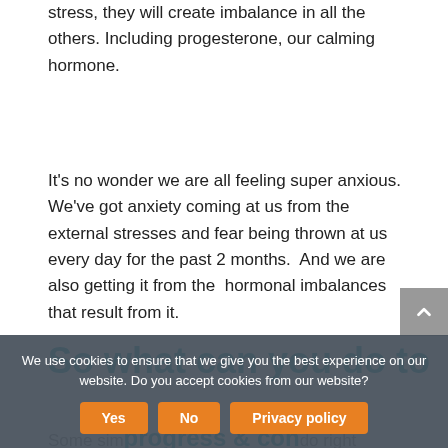stress, they will create imbalance in all the others. Including progesterone, our calming hormone.
It's no wonder we are all feeling super anxious.  We've got anxiety coming at us from the external stresses and fear being thrown at us every day for the past 2 months.  And we are also getting it from the  hormonal imbalances that result from it.
So what can you do to
Some simple things you can do right now include avoiding alcohol and caffeine
We use cookies to ensure that we give you the best experience on our website. Do you accept cookies from our website?